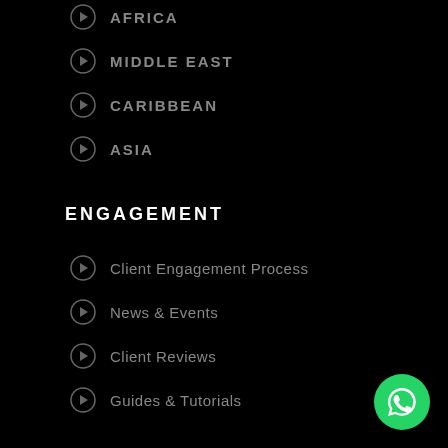AFRICA
MIDDLE EAST
CARIBBEAN
ASIA
ENGAGEMENT
Client Engagement Process
News & Events
Client Reviews
Guides & Tutorials
[Figure (logo): WhatsApp green circle button icon in bottom right corner]